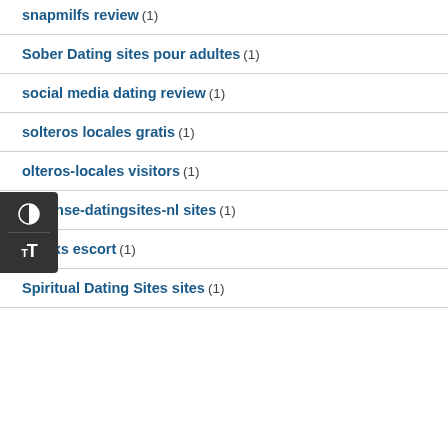snapmilfs review (1)
Sober Dating sites pour adultes (1)
social media dating review (1)
solteros locales gratis (1)
olteros-locales visitors (1)
spaanse-datingsites-nl sites (1)
sparks escort (1)
Spiritual Dating Sites sites (1)